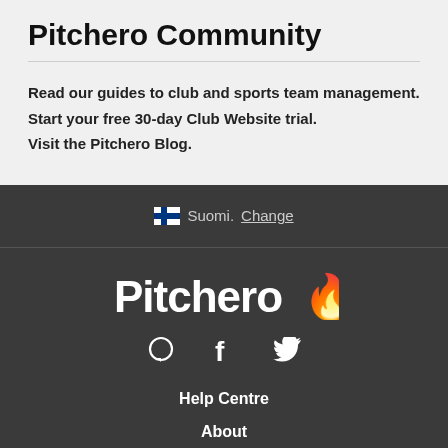Pitchero Community
Read our guides to club and sports team management.
Start your free 30-day Club Website trial.
Visit the Pitchero Blog.
🇫🇮 Suomi. Change
[Figure (logo): Pitchero logo in white text with flame icon]
[Figure (infographic): Social media icons: chat bubble, Facebook f, Twitter bird]
Help Centre
About
Advertising